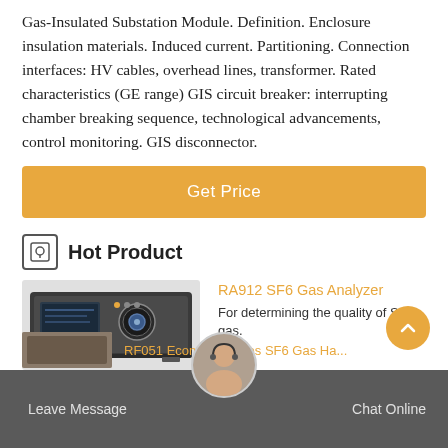Gas-Insulated Substation Module. Definition. Enclosure insulation materials. Induced current. Partitioning. Connection interfaces: HV cables, overhead lines, transformer. Rated characteristics (GE range) GIS circuit breaker: interrupting chamber breaking sequence, technological advancements, control monitoring. GIS disconnector.
Get Price
Hot Product
[Figure (photo): Photo of RA912 SF6 Gas Analyzer device — a rack-mounted instrument with a display screen and circular control dial on the front panel]
RA912 SF6 Gas Analyzer
For determining the quality of SF6 gas.
[Figure (photo): Customer service representative avatar — circular photo of a woman wearing a headset]
RF051 Economy Series SF6 Gas Ha...
Leave Message   Chat Online